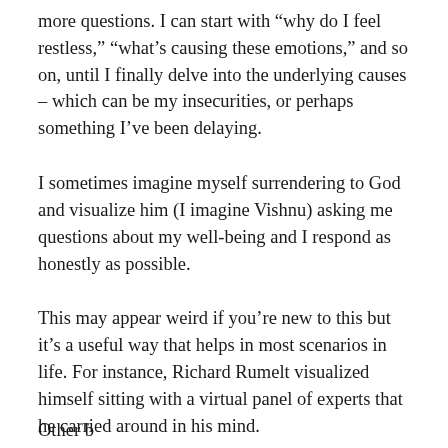more questions. I can start with “why do I feel restless,” “what’s causing these emotions,” and so on, until I finally delve into the underlying causes – which can be my insecurities, or perhaps something I’ve been delaying.
I sometimes imagine myself surrendering to God and visualize him (I imagine Vishnu) asking me questions about my well-being and I respond as honestly as possible.
This may appear weird if you’re new to this but it’s a useful way that helps in most scenarios in life. For instance, Richard Rumelt visualized himself sitting with a virtual panel of experts that he carried around in his mind.
Other b...